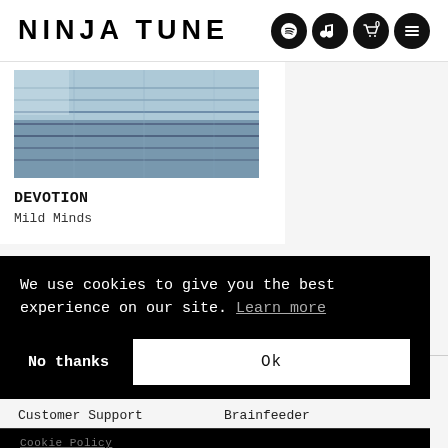NINJA TUNE
[Figure (photo): Album artwork for DEVOTION by Mild Minds showing a blurred architectural/industrial image with grid lines]
DEVOTION
Mild Minds
Contact Us
About Us
Customer Support
Big Dada
Counter
Brainfeeder
We use cookies to give you the best experience on our site. Learn more
No thanks
Ok
Cookie Policy